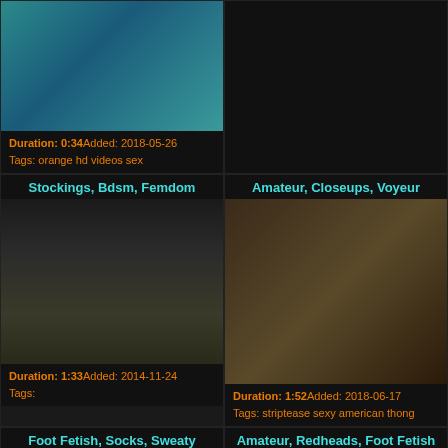[Figure (photo): Video thumbnail showing teal/blue background with figure]
Duration: 0:34Added: 2018-05-26
Tags: orange hd videos sex
[Figure (photo): Dark/black placeholder on right top]
Stockings, Bdsm, Femdom
[Figure (photo): Two women with socks, SockFixation.com watermark]
Duration: 1:33Added: 2014-11-24
Tags:
Amateur, Closeups, Voyeur
[Figure (photo): Woman in room with plants]
Duration: 1:52Added: 2018-06-17
Tags: striptease sexy american thong
Foot Fetish, Socks, Sweaty
[Figure (photo): Small thumbnail placeholder]
Duration: 1:27Added: 2016-08-22
Amateur, Redheads, Foot Fetish
[Figure (photo): Small thumbnail placeholder]
Duration: 2:24Added: 2017-10-05